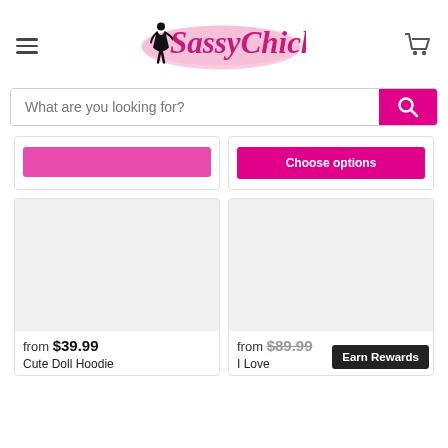SassyChick logo, hamburger menu, cart icon
What are you looking for?
[Figure (screenshot): Partial product card top-left with pink button partially visible]
[Figure (screenshot): Partial product card top-right with Choose options button]
[Figure (photo): Cute Doll Hoodie product image placeholder (gray)]
from $39.99
Cute Doll Hoodie
[Figure (photo): I Love product image placeholder (gray)]
from $89.99
I Love
Earn Rewards